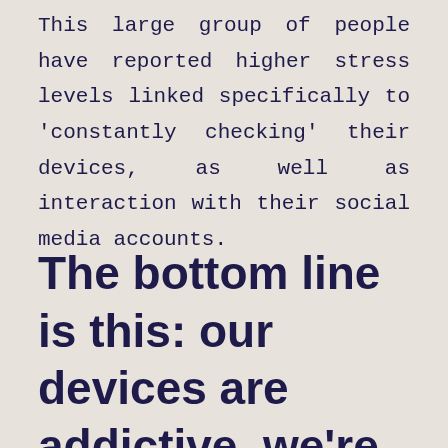This large group of people have reported higher stress levels linked specifically to 'constantly checking' their devices, as well as interaction with their social media accounts.
The bottom line is this: our devices are addictive, we're always on them, and